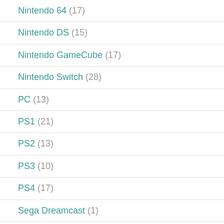Nintendo 64 (17)
Nintendo DS (15)
Nintendo GameCube (17)
Nintendo Switch (28)
PC (13)
PS1 (21)
PS2 (13)
PS3 (10)
PS4 (17)
Sega Dreamcast (1)